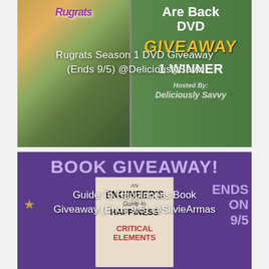[Figure (photo): Rugrats Season 1 DVD giveaway promotional image with green background showing DVD cover on left and text 'Are Back DVD GIVEAWAY 1 WINNER Hosted by Deliciously Savvy' on right]
Rugrats Season 1 DVD Giveaway (Ends 9/5) @DeliciouslySavv
[Figure (photo): Book Giveaway promotional image with purple background showing 'BOOK GIVEAWAY!' title, book cover of An Engineer's Guide to Happiness with Critical Elements subtitle, and 'ENDS ON 9/5' text on right]
Guide To Happinness Book Giveaway (Ends 9/5) @SilvieArmas